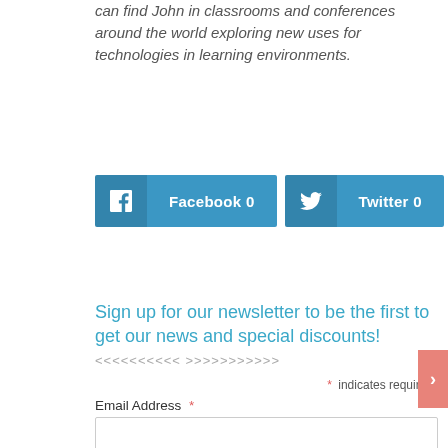can find John in classrooms and conferences around the world exploring new uses for technologies in learning environments.
[Figure (infographic): Two social share buttons side by side: Facebook 0 and Twitter 0, both in teal/blue color with icon panels on left]
Sign up for our newsletter to be the first to get our news and special discounts!
<<<<<<<<<< >>>>>>>>>>
* indicates required
Email Address *
First Name